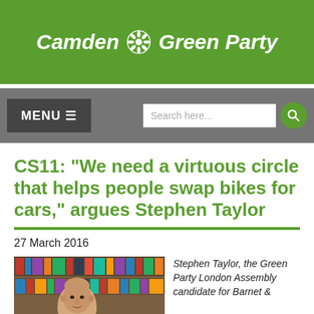Camden Green Party
CS11: "We need a virtuous circle that helps people swap bikes for cars," argues Stephen Taylor
27 March 2016
[Figure (photo): Photo of Stephen Taylor, a bald middle-aged man, in front of a bookshelf]
Stephen Taylor, the Green Party London Assembly candidate for Barnet &